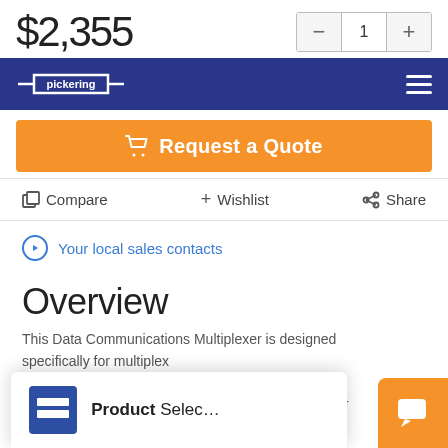$2,355
[Figure (screenshot): Quantity selector with minus, 1, plus buttons]
Pickering navigation bar with logo and hamburger menu
[Figure (other): Request a Quote button (orange)]
Compare  + Wishlist  < Share
Your local sales contacts
Overview
This Data Communications Multiplexer is designed specifically for multiplex... differential signal pairs ... impedance. The multiplexer can be configured under
[Figure (logo): Product Selector overlay panel with logo icon]
[Figure (other): Orange chat bubble icon]